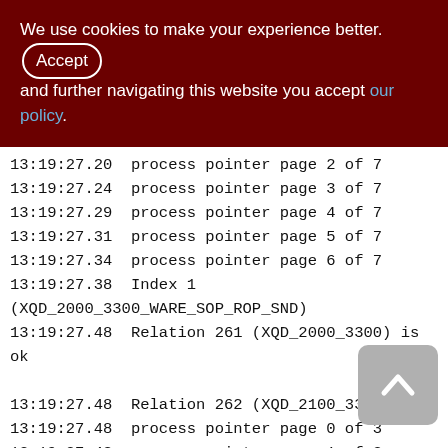We use cookies to make your experience better. By accepting and further navigating this website you accept our policy.
13:19:27.20  process pointer page 2 of 7
13:19:27.24  process pointer page 3 of 7
13:19:27.29  process pointer page 4 of 7
13:19:27.31  process pointer page 5 of 7
13:19:27.34  process pointer page 6 of 7
13:19:27.38  Index 1 (XQD_2000_3300_WARE_SOP_ROP_SND)
13:19:27.48  Relation 261 (XQD_2000_3300) is ok

13:19:27.48  Relation 262 (XQD_2100_3300)
13:19:27.48  process pointer page 0 of 3
13:19:27.48  process pointer page 1 of 3